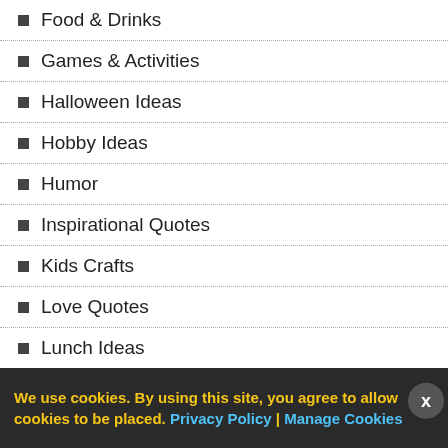Food & Drinks
Games & Activities
Halloween Ideas
Hobby Ideas
Humor
Inspirational Quotes
Kids Crafts
Love Quotes
Lunch Ideas
Movie Reviews
Music
New Year
Origami
Paintings & Art
We use cookies. By using this site, you agree to allow cookies to be placed. Privacy Policy | Manage Cookies